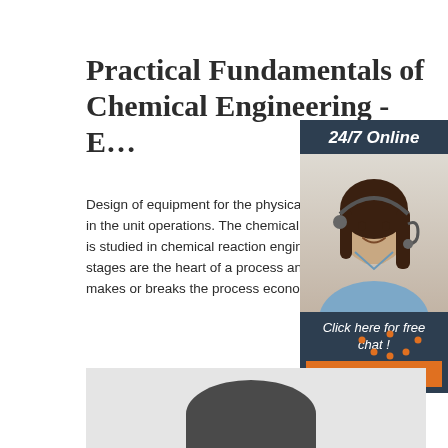Practical Fundamentals of Chemical Engineering - E…
Design of equipment for the physical treatment step in the unit operations. The chemical treatment step of is studied in chemical reaction engineering. The trea stages are the heart of a process and the core facto makes or breaks the process economically.
[Figure (other): Advertisement widget showing a woman with headset, 24/7 Online support banner, 'Click here for free chat!' and 'QUOTATION' button]
[Figure (other): Orange 'Get Price' button]
[Figure (other): TOP navigation button with orange dotted arc and 'TOP' label]
[Figure (photo): Bottom section showing a gray background with a dark rounded shape, partial equipment or industrial content image]